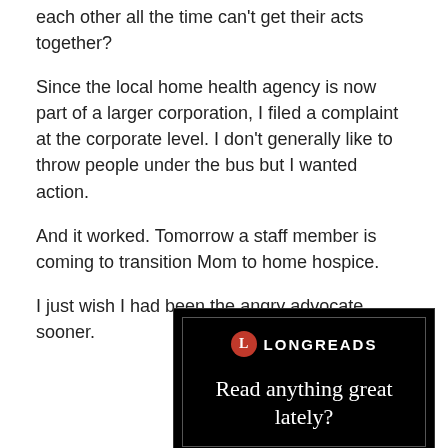each other all the time can't get their acts together?
Since the local home health agency is now part of a larger corporation, I filed a complaint at the corporate level. I don't generally like to throw people under the bus but I wanted action.
And it worked. Tomorrow a staff member is coming to transition Mom to home hospice.
I just wish I had been the angry advocate sooner.
Advertisements
[Figure (screenshot): Longreads advertisement banner with black background showing a red circle logo with 'L', the word LONGREADS, and text 'Read anything great lately?']